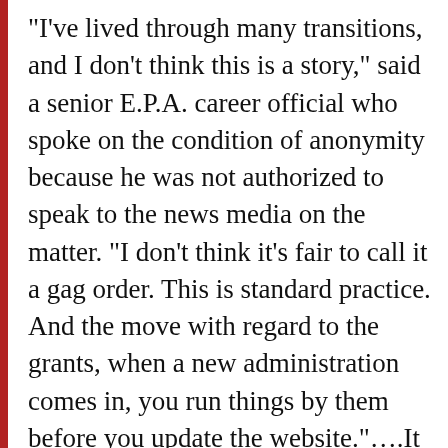“I’ve lived through many transitions, and I don’t think this is a story,” said a senior E.P.A. career official who spoke on the condition of anonymity because he was not authorized to speak to the news media on the matter. “I don’t think it’s fair to call it a gag order. This is standard practice. And the move with regard to the grants, when a new administration comes in, you run things by them before you update the website.”….It is standard practice for new administrations to make changes to their websites to reflect their different policy